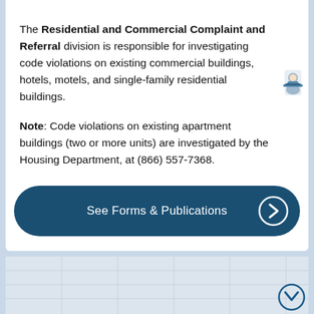The Residential and Commercial Complaint and Referral division is responsible for investigating code violations on existing commercial buildings, hotels, motels, and single-family residential buildings.
Note: Code violations on existing apartment buildings (two or more units) are investigated by the Housing Department, at (866) 557-7368.
[Figure (other): Button labeled 'See Forms & Publications' with a right-arrow chevron circle on a dark navy blue rounded rectangle background]
[Figure (map): Gray map area at the bottom of the page with a down-arrow chevron circle in the bottom right corner]